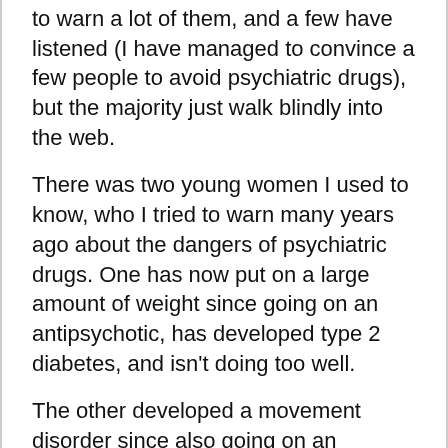to warn a lot of them, and a few have listened (I have managed to convince a few people to avoid psychiatric drugs), but the majority just walk blindly into the web.
There was two young women I used to know, who I tried to warn many years ago about the dangers of psychiatric drugs. One has now put on a large amount of weight since going on an antipsychotic, has developed type 2 diabetes, and isn't doing too well.
The other developed a movement disorder since also going on an antipsychotic, and can't stop taking it because of withdrawal symptoms.
There was another young man in his early 20's who I tried to warn about 5 years ago not to take benzodiazepines prescribed by his psychiatrist. He didn't listen and is now hopelessly addicted to clonazepam, and on a